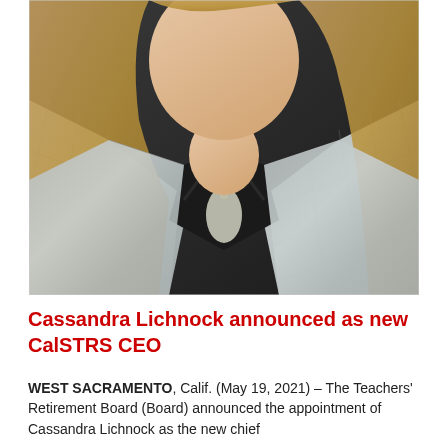[Figure (photo): Professional headshot/portrait of Cassandra Lichnock, a woman with long blonde hair wearing a grey plaid blazer over a black top with a silver pendant necklace, photographed against a dark background.]
Cassandra Lichnock announced as new CalSTRS CEO
WEST SACRAMENTO, Calif. (May 19, 2021) – The Teachers' Retirement Board (Board) announced the appointment of Cassandra Lichnock as the new chief